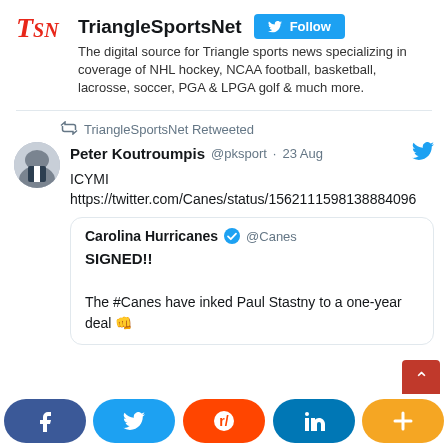[Figure (logo): TSN logo in red italic text]
TriangleSportsNet
The digital source for Triangle sports news specializing in coverage of NHL hockey, NCAA football, basketball, lacrosse, soccer, PGA & LPGA golf & much more.
TriangleSportsNet Retweeted
Peter Koutroumpis @pksport · 23 Aug
ICYMI https://twitter.com/Canes/status/1562111598138884096
Carolina Hurricanes @Canes
SIGNED!!

The #Canes have inked Paul Stastny to a one-year deal 👊